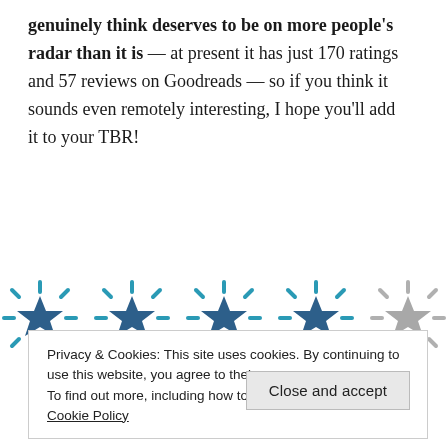genuinely think deserves to be on more people's radar than it is — at present it has just 170 ratings and 57 reviews on Goodreads — so if you think it sounds even remotely interesting, I hope you'll add it to your TBR!
[Figure (other): Five star rating icons: four filled teal/dark-blue stars and one empty grey star, indicating a 4-out-of-5 star rating.]
Privacy & Cookies: This site uses cookies. By continuing to use this website, you agree to their use.
To find out more, including how to control cookies, see here: Cookie Policy
Close and accept